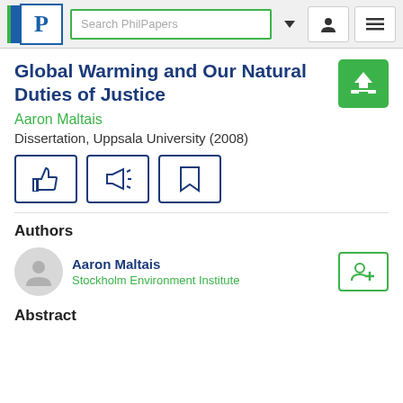[Figure (screenshot): PhilPapers website navigation bar with logo, search box, and user icons]
Global Warming and Our Natural Duties of Justice
Aaron Maltais
Dissertation, Uppsala University (2008)
Authors
Aaron Maltais
Stockholm Environment Institute
Abstract